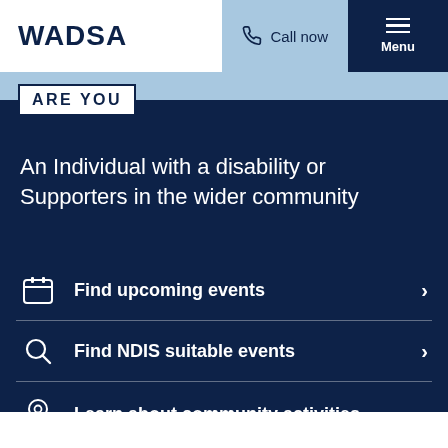WADSA | Call now | Menu
ARE YOU
An Individual with a disability or Supporters in the wider community
Find upcoming events
Find NDIS suitable events
Learn about community activities